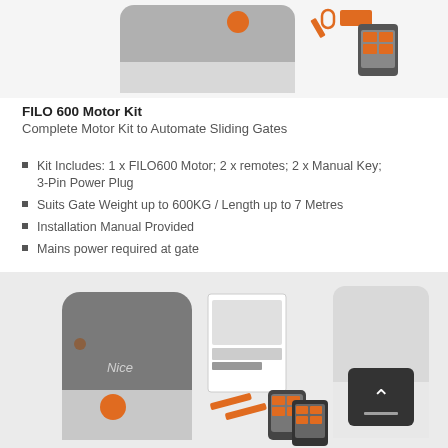[Figure (photo): Top portion of FILO 600 Motor Kit product photo showing the motor unit and remote controls on a white background]
FILO 600 Motor Kit
Complete Motor Kit to Automate Sliding Gates
Kit Includes: 1 x FILO600 Motor; 2 x remotes; 2 x Manual Key; 3-Pin Power Plug
Suits Gate Weight up to 600KG / Length up to 7 Metres
Installation Manual Provided
Mains power required at gate
[Figure (photo): Full FILO 600 Motor Kit product photo showing the Nice-branded motor unit, installation manual, orange mounting brackets, two remote controls, and a smart panel controller on a light grey background]